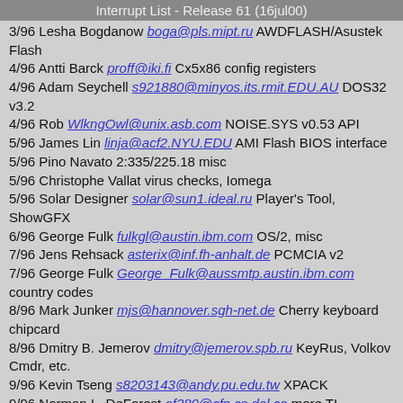Interrupt List - Release 61 (16jul00)
3/96 Lesha Bogdanow boga@pls.mipt.ru AWDFLASH/Asustek Flash
4/96 Antti Barck proff@iki.fi Cx5x86 config registers
4/96 Adam Seychell s921880@minyos.its.rmit.EDU.AU DOS32 v3.2
4/96 Rob WlkngOwl@unix.asb.com NOISE.SYS v0.53 API
5/96 James Lin linja@acf2.NYU.EDU AMI Flash BIOS interface
5/96 Pino Navato 2:335/225.18 misc
5/96 Christophe Vallat virus checks, Iomega
5/96 Solar Designer solar@sun1.ideal.ru Player's Tool, ShowGFX
6/96 George Fulk fulkgl@austin.ibm.com OS/2, misc
7/96 Jens Rehsack asterix@inf.fh-anhalt.de PCMCIA v2
7/96 George Fulk George_Fulk@aussmtp.austin.ibm.com country codes
8/96 Mark Junker mjs@hannover.sgh-net.de Cherry keyboard chipcard
8/96 Dmitry B. Jemerov dmitry@jemerov.spb.ru KeyRus, Volkov Cmdr, etc.
9/96 Kevin Tseng s8203143@andy.pu.edu.tw XPACK
9/96 Norman L. DeForest af380@cfn.cs.dal.ca more TI Professional PC
10/96 Duncan Murdoch D.J.Murdoch@bristol.ac.uk FAT32